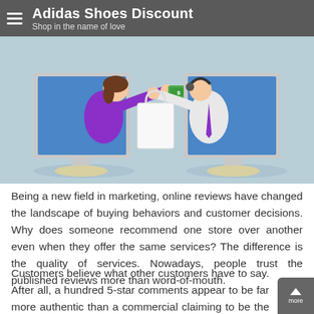Adidas Shoes Discount — Shop in the name of love
[Figure (illustration): Illustration of online shopping: a woman in purple reaching through a computer monitor to hand money, and a customer service representative reaching through another monitor holding a shopping bag, against a light blue background.]
Being a new field in marketing, online reviews have changed the landscape of buying behaviors and customer decisions. Why does someone recommend one store over another even when they offer the same services? The difference is the quality of services. Nowadays, people trust the published reviews more than word-of-mouth.
Customers believe what other customers have to say. After all, a hundred 5-star comments appear to be far more authentic than a commercial claiming to be the finest in the